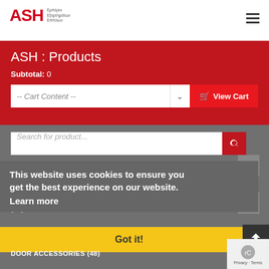ASH - Εμπόριο Εξαρτημάτων Επίπλων
ASH : Products
Subtotal: 0
-- Cart Content --
View Cart
Search for product...
INNOVATIVE EQUIPMENTS - IDEAS (2)
This website uses cookies to ensure you get the best experience on our website. Learn more
EVERYDAY PRODUCTS FOR WORKSHOP AND INSTALLATION (19)
Got it!
DOOR ACCESSORIES (48)